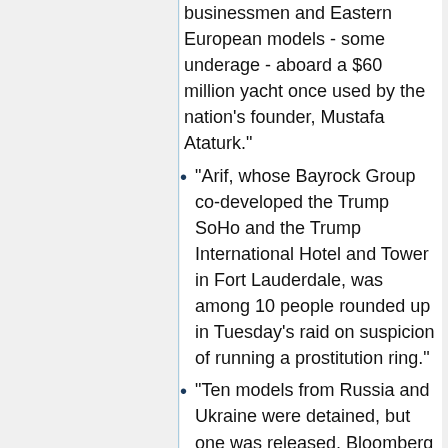businessmen and Eastern European models - some underage - aboard a $60 million yacht once used by the nation's founder, Mustafa Ataturk."
"Arif, whose Bayrock Group co-developed the Trump SoHo and the Trump International Hotel and Tower in Fort Lauderdale, was among 10 people rounded up in Tuesday's raid on suspicion of running a prostitution ring."
"Ten models from Russia and Ukraine were detained, but one was released, Bloomberg News reported. Two of the women were underage."
"Russian, Kyrgyz and Kazakh